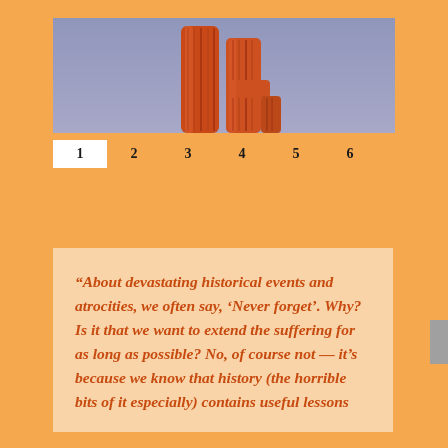[Figure (photo): Two tall orange/red cacti silhouetted against a blue-grey sky, lit by warm sunset or sunrise light.]
1  2  3  4  5  6
“About devastating historical events and atrocities, we often say, ‘Never forget’. Why? Is it that we want to extend the suffering for as long as possible? No, of course not – it’s because we know that history (the horrible bits of it especially) contains useful lessons